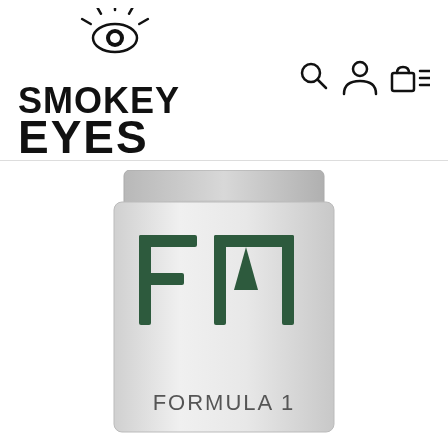[Figure (logo): Smokey Eyes brand logo with eye icon above stylized text reading SMOKEY EYES]
[Figure (screenshot): Navigation icons: search magnifying glass, user/person icon, shopping bag/cart icon, hamburger menu icon]
[Figure (photo): White product bag with dark green F1 logo graphic and text FORMULA 1 printed on lower portion of bag]